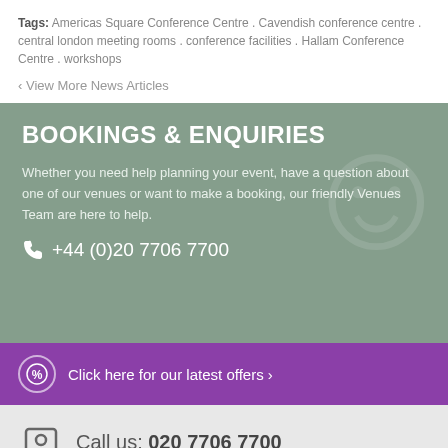Tags: Americas Square Conference Centre . Cavendish conference centre . central london meeting rooms . conference facilities . Hallam Conference Centre . workshops
‹ View More News Articles
BOOKINGS & ENQUIRIES
Whether you need help planning your event, have a question about one of our venues or want to make a booking, our friendly Venues Team are here to help.
+44 (0)20 7706 7700
Click here for our latest offers ›
Call us: 020 7706 7700
BOOKING ENQUIRY